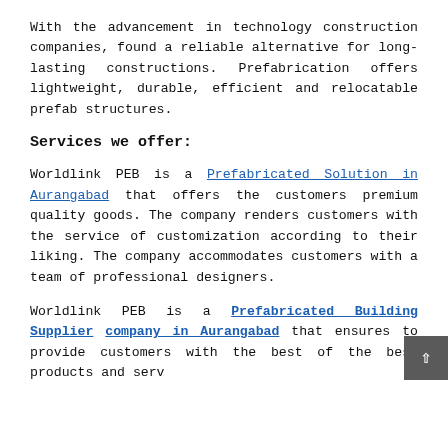With the advancement in technology construction companies, found a reliable alternative for long-lasting constructions. Prefabrication offers lightweight, durable, efficient and relocatable prefab structures.
Services we offer:
Worldlink PEB is a Prefabricated Solution in Aurangabad that offers the customers premium quality goods. The company renders customers with the service of customization according to their liking. The company accommodates customers with a team of professional designers.
Worldlink PEB is a Prefabricated Building Supplier company in Aurangabad that ensures to provide customers with the best of the best products and serv...